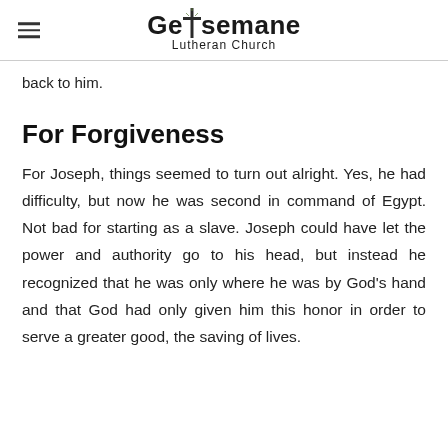Gethsemane Lutheran Church
back to him.
For Forgiveness
For Joseph, things seemed to turn out alright. Yes, he had difficulty, but now he was second in command of Egypt. Not bad for starting as a slave. Joseph could have let the power and authority go to his head, but instead he recognized that he was only where he was by God's hand and that God had only given him this honor in order to serve a greater good, the saving of lives.